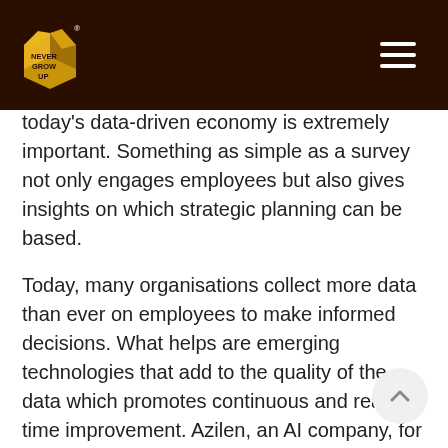Never Grow Up [logo] [hamburger menu]
today's data-driven economy is extremely important. Something as simple as a survey not only engages employees but also gives insights on which strategic planning can be based.
Today, many organisations collect more data than ever on employees to make informed decisions. What helps are emerging technologies that add to the quality of the data which promotes continuous and real-time improvement. Azilen, an AI company, for instance, works on providing AI tools and services like Workforce Sentiment Analysis, Candidate Screening, Facial Recognition, helping organisations